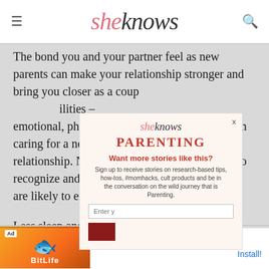sheknows
The bond you and your partner feel as new parents can make your relationship stronger and bring you closer as a coup... ilities – emotional, physi... at come with caring for a new... ains to your relationship. No... it's time to recognize and w... are likely to expe...
[Figure (screenshot): Modal popup newsletter signup for sheknows PARENTING section with email input and submit button]
Less sleep and alone... you disagree more o... used to be. Maintaini...
[Figure (screenshot): Bottom ad banner for BitLife - Life Simulator app with Install button]